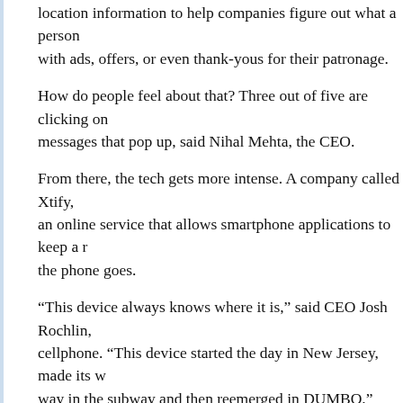location information to help companies figure out what a person with ads, offers, or even thank-yous for their patronage.
How do people feel about that? Three out of five are clicking on messages that pop up, said Nihal Mehta, the CEO.
From there, the tech gets more intense. A company called Xtify, an online service that allows smartphone applications to keep a running record of where the phone goes.
“This device always knows where it is,” said CEO Josh Rochlin, cellphone. “This device started the day in New Jersey, made its way in the subway and then reemerged in DUMBO.”
What’s that good for? The DailyCandy Stylish Alerts app, for example, gives recommendations for hot spots and events close to where users are. Rochlin said that, if DailyCandy chose to, it could also allow the app to send suggestions based on where people have been.
Is that stalking? Rochlin stressed that the apps using his service only collect data if the people authorize it. And they track the comings and goings of a random number assigned to the app using their service. According